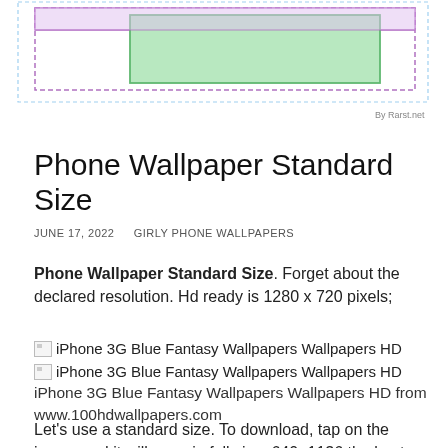[Figure (schematic): Diagram showing nested rectangles with dashed and solid borders in purple, green, and light blue, with 'By Rarst.net' watermark in lower right]
Phone Wallpaper Standard Size
JUNE 17, 2022    GIRLY PHONE WALLPAPERS
Phone Wallpaper Standard Size. Forget about the declared resolution. Hd ready is 1280 x 720 pixels;
[Figure (illustration): Broken image placeholder with alt text: iPhone 3G Blue Fantasy Wallpapers Wallpapers HD]
[Figure (illustration): Broken image placeholder with alt text: iPhone 3G Blue Fantasy Wallpapers Wallpapers HD]
iPhone 3G Blue Fantasy Wallpapers Wallpapers HD from www.100hdwallpapers.com
Let's use a standard size. To download, tap on the image and it will open in full size. 640×1136 the best iphone 5 wallpaper size for cropping and editing. Do